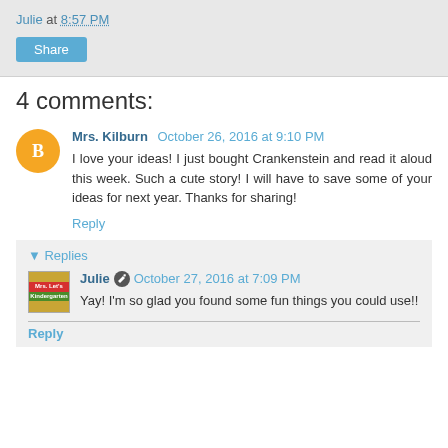Julie at 8:57 PM
Share
4 comments:
Mrs. Kilburn October 26, 2016 at 9:10 PM
I love your ideas! I just bought Crankenstein and read it aloud this week. Such a cute story! I will have to save some of your ideas for next year. Thanks for sharing!
Reply
▾ Replies
Julie October 27, 2016 at 7:09 PM
Yay! I'm so glad you found some fun things you could use!!
Reply